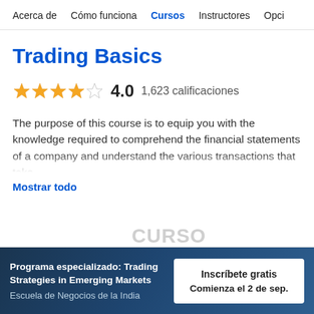Acerca de   Cómo funciona   Cursos   Instructores   Opciones
Trading Basics
4.0   1,623 calificaciones
The purpose of this course is to equip you with the knowledge required to comprehend the financial statements of a company and understand the various transactions that take...
Mostrar todo
Programa especializado: Trading Strategies in Emerging Markets
Escuela de Negocios de la India
Inscríbete gratis
Comienza el 2 de sep.